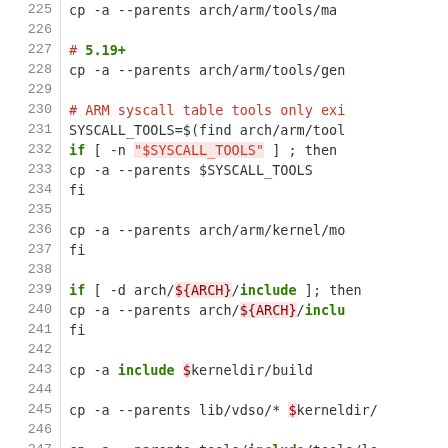[Figure (screenshot): Source code screenshot showing shell script lines 225-255 with syntax highlighting. Green bold keywords (if, fi, for, include), red highlighted string variables, and red comment markers.]